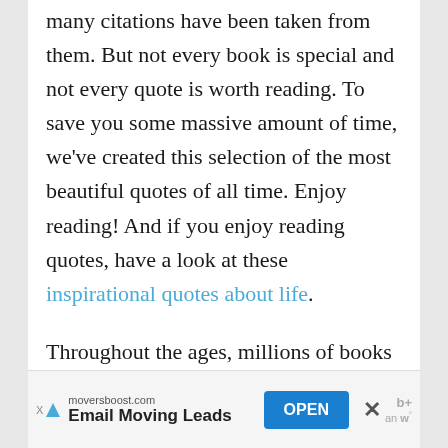many citations have been taken from them. But not every book is special and not every quote is worth reading. To save you some massive amount of time, we've created this selection of the most beautiful quotes of all time. Enjoy reading! And if you enjoy reading quotes, have a look at these inspirational quotes about life.
Throughout the ages, millions of books have been written. These books equate to
[Figure (other): Advertisement banner: moversboost.com – Email Moving Leads – OPEN button, with close X and logos]